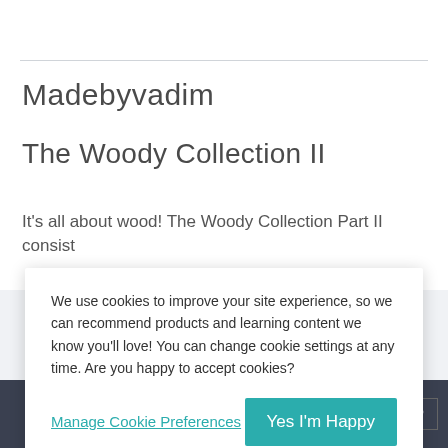Madebyvadim
The Woody Collection II
It’s all about wood! The Woody Collection Part II consist
We use cookies to improve your site experience, so we can recommend products and learning content we know you’ll love! You can change cookie settings at any time. Are you happy to accept cookies?
Manage Cookie Preferences
Yes I’m Happy
TOP